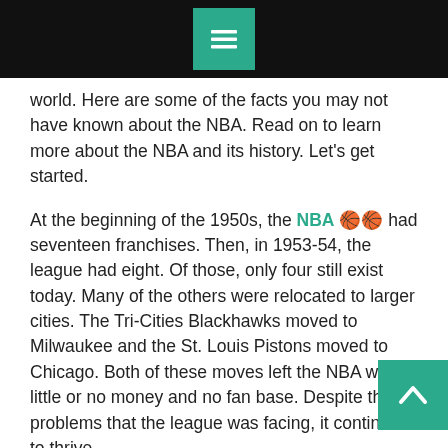[Navigation menu bar with hamburger icon]
world. Here are some of the facts you may not have known about the NBA. Read on to learn more about the NBA and its history. Let’s get started.
At the beginning of the 1950s, the NBA ⛹⛹ had seventeen franchises. Then, in 1953-54, the league had eight. Of those, only four still exist today. Many of the others were relocated to larger cities. The Tri-Cities Blackhawks moved to Milwaukee and the St. Louis Pistons moved to Chicago. Both of these moves left the NBA with little or no money and no fan base. Despite the problems that the league was facing, it continued to thrive.
The NBA was founded in 1947. The league was originally made up of seventeen teams, but later on it consolidated into eleven teams. In 1950-54, there were eight teams. Of those, only four